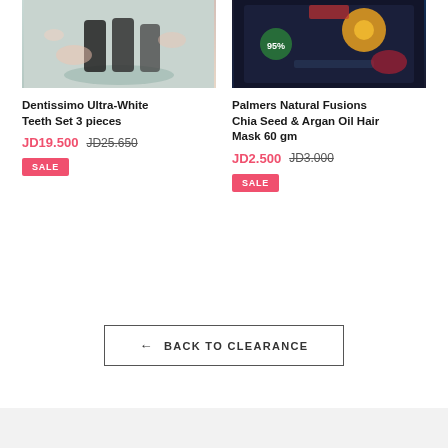[Figure (photo): Product photo of Dentissimo Ultra-White Teeth Set 3 pieces showing tubes on a teal/mint platform with pink flowers]
[Figure (photo): Product photo of Palmers Natural Fusions Chia Seed & Argan Oil Hair Mask 60 gm dark packaging with flowers]
Dentissimo Ultra-White Teeth Set 3 pieces
JD19.500  JD25.650
SALE
Palmers Natural Fusions Chia Seed & Argan Oil Hair Mask 60 gm
JD2.500  JD3.000
SALE
← BACK TO CLEARANCE